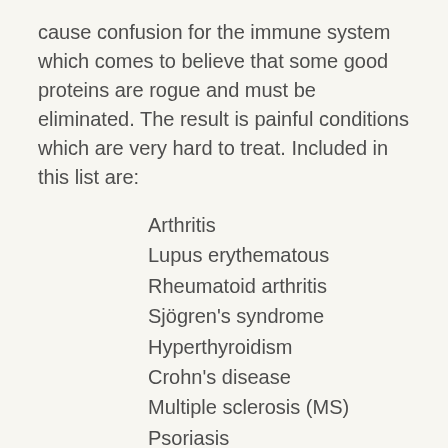cause confusion for the immune system which comes to believe that some good proteins are rogue and must be eliminated. The result is painful conditions which are very hard to treat. Included in this list are:
Arthritis
Lupus erythematous
Rheumatoid arthritis
Sjögren's syndrome
Hyperthyroidism
Crohn's disease
Multiple sclerosis (MS)
Psoriasis
Thyroiditis
These conditions are often